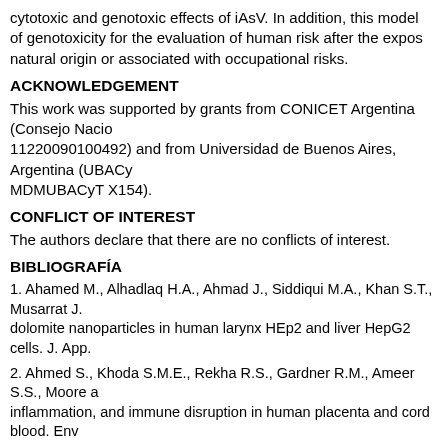cytotoxic and genotoxic effects of iAsV. In addition, this model of genotoxicity for the evaluation of human risk after the expos natural origin or associated with occupational risks.
ACKNOWLEDGEMENT
This work was supported by grants from CONICET Argentina (Consejo Nacio 11220090100492) and from Universidad de Buenos Aires, Argentina (UBACy MDMUBACyT X154).
CONFLICT OF INTEREST
The authors declare that there are no conflicts of interest.
BIBLIOGRAFÍA
1. Ahamed M., Alhadlaq H.A., Ahmad J., Siddiqui M.A., Khan S.T., Musarrat J. dolomite nanoparticles in human larynx HEp2 and liver HepG2 cells. J. App.
2. Ahmed S., Khoda S.M.E., Rekha R.S., Gardner R.M., Ameer S.S., Moore a inflammation, and immune disruption in human placenta and cord blood. Env
3. Albiano N. F., Villamil Lepori, E. (2015). Toxicologia Laboral: Criterios para a sustancias quimicas peligrosas/ Ampliada. Buenos Aires: Superintendencia
4. Anderson M.E. (1985) Determination of glutathione and glutathione disulfid 553.   [ Links ]
5. Andrighetti-Fröhner C.R., Kratz J.M., Antonio R.V., Creczynski-Pasa T.B., R genotoxicity of violacein assessed by Comet and Micronucleus assays. Muta